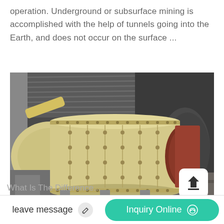operation. Underground or subsurface mining is accomplished with the help of tunnels going into the Earth, and does not occur on the surface ...
[Figure (photo): Photo of a large industrial ball mill machine inside a warehouse/factory building with a corrugated metal roof. The ball mill is cylindrical, painted cream/yellow, with bolted flanges and studs along its length. The machine sits on metal supports on a concrete floor.]
leave message
Inquiry Online
What Is The Difference...